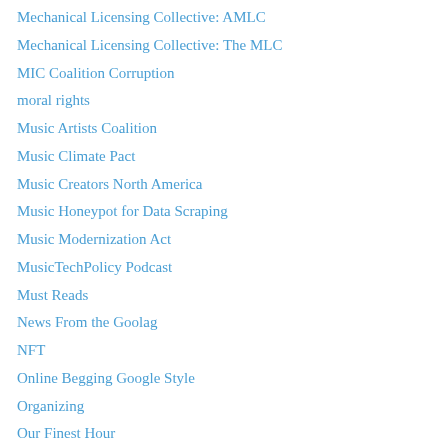Mechanical Licensing Collective: AMLC
Mechanical Licensing Collective: The MLC
MIC Coalition Corruption
moral rights
Music Artists Coalition
Music Climate Pact
Music Creators North America
Music Honeypot for Data Scraping
Music Modernization Act
MusicTechPolicy Podcast
Must Reads
News From the Goolag
NFT
Online Begging Google Style
Organizing
Our Finest Hour
Pandemic
Pandemic: Emergency Powers
Pandora Meltdown
Pandora Shareholder Lawsuit